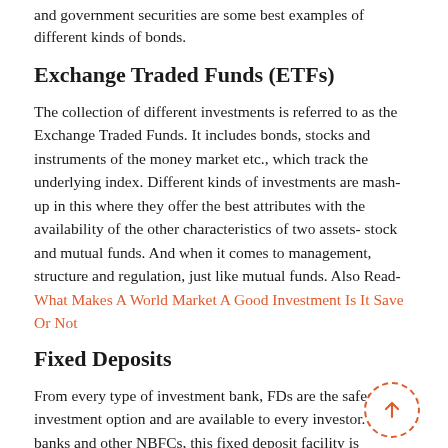and government securities are some best examples of different kinds of bonds.
Exchange Traded Funds (ETFs)
The collection of different investments is referred to as the Exchange Traded Funds. It includes bonds, stocks and instruments of the money market etc., which track the underlying index. Different kinds of investments are mash-up in this where they offer the best attributes with the availability of the other characteristics of two assets- stock and mutual funds. And when it comes to management, structure and regulation, just like mutual funds. Also Read- What Makes A World Market A Good Investment Is It Save Or Not
Fixed Deposits
From every type of investment bank, FDs are the safest investment option and are available to every investor. By banks and other NBFCs, this fixed deposit facility is available.